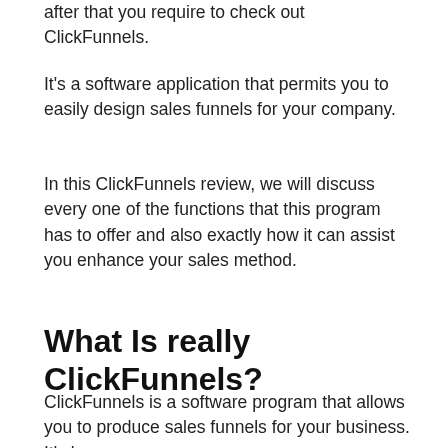after that you require to check out ClickFunnels.
It's a software application that permits you to easily design sales funnels for your company.
In this ClickFunnels review, we will discuss every one of the functions that this program has to offer and also exactly how it can assist you enhance your sales method.
What Is really ClickFunnels?
ClickFunnels is a software program that allows you to produce sales funnels for your business. It's been